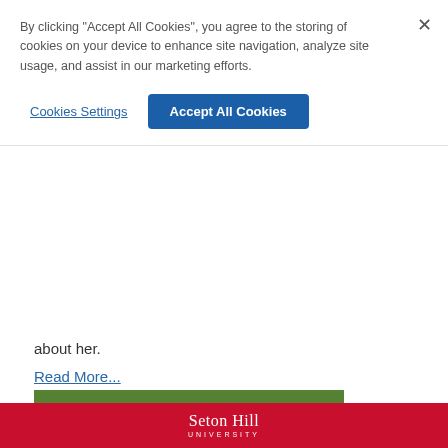By clicking “Accept All Cookies”, you agree to the storing of cookies on your device to enhance site navigation, analyze site usage, and assist in our marketing efforts.
Cookies Settings
Accept All Cookies
about her.
Read More...
[Figure (photo): A lacrosse stick with white frame and netting lying on green grass, with a yellow-green lacrosse ball resting in the pocket of the stick head.]
Seton Hill UNIVERSITY